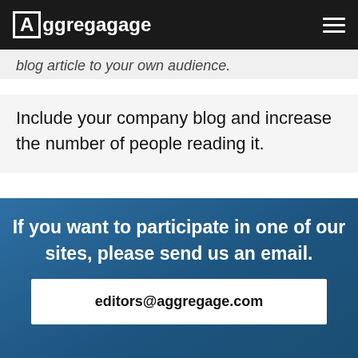Aggregage
blog article to your own audience.
Include your company blog and increase the number of people reading it.
If you want to participate in one of our sites, please send us an email.
editors@aggregage.com